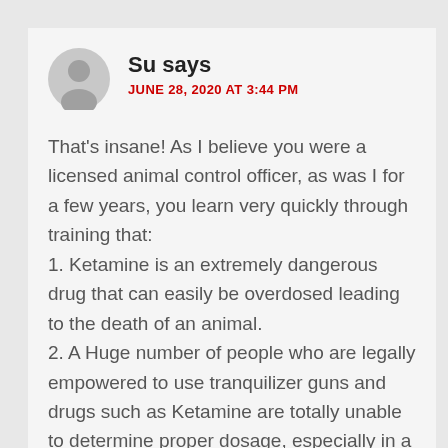[Figure (illustration): Gray circular avatar icon with a silhouette of a person]
Su says
JUNE 28, 2020 AT 3:44 PM
That's insane! As I believe you were a licensed animal control officer, as was I for a few years, you learn very quickly through training that:
1. Ketamine is an extremely dangerous drug that can easily be overdosed leading to the death of an animal.
2. A Huge number of people who are legally empowered to use tranquilizer guns and drugs such as Ketamine are totally unable to determine proper dosage, especially in a field situation ( many folks I trained with had only high school educations and never could